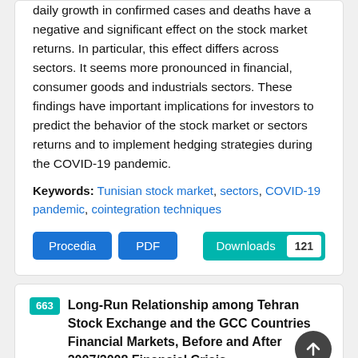daily growth in confirmed cases and deaths have a negative and significant effect on the stock market returns. In particular, this effect differs across sectors. It seems more pronounced in financial, consumer goods and industrials sectors. These findings have important implications for investors to predict the behavior of the stock market or sectors returns and to implement hedging strategies during the COVID-19 pandemic.
Keywords: Tunisian stock market, sectors, COVID-19 pandemic, cointegration techniques
Procedia | PDF | Downloads 121
663 Long-Run Relationship among Tehran Stock Exchange and the GCC Countries Financial Markets, Before and After 2007/2008 Financial Crisis